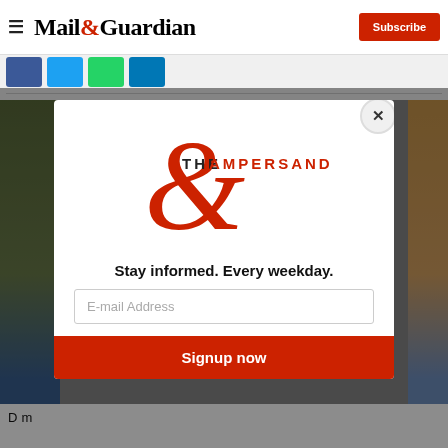Mail&Guardian — Subscribe
[Figure (logo): Mail&Guardian newspaper logo with red ampersand and Subscribe button]
[Figure (screenshot): Social sharing icons: Facebook (blue), Twitter (blue), WhatsApp (green), LinkedIn (blue)]
[Figure (screenshot): The Ampersand newsletter signup modal overlay with large red ampersand logo, tagline 'Stay informed. Every weekday.', email address input field, and red 'Signup now' button. Close (X) button in top-right corner.]
D m